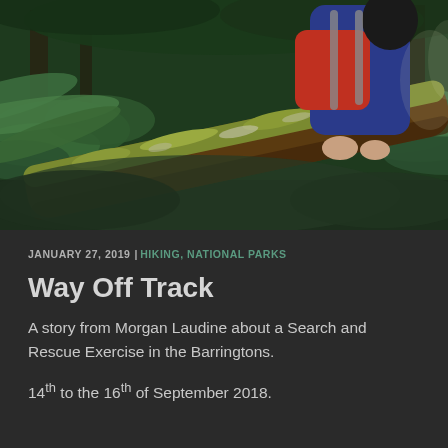[Figure (photo): Person in red and blue jacket climbing over a large moss-covered fallen log in dense green rainforest with ferns and trees in background]
JANUARY 27, 2019 | HIKING, NATIONAL PARKS
Way Off Track
A story from Morgan Laudine about a Search and Rescue Exercise in the Barringtons.
14th to the 16th of September 2018.